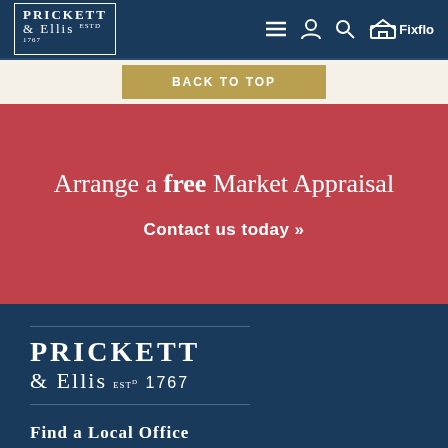Prickett & Ellis ESTD 1767
BACK TO TOP
Arrange a free Market Appraisal
Contact us today »
[Figure (logo): Prickett & Ellis ESTD 1767 logo in white on dark blue background with horizontal rules]
Find a Local Office